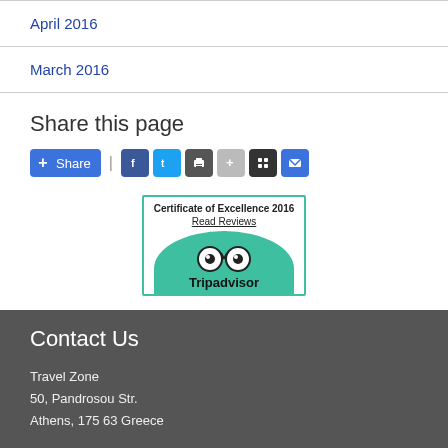April 2016
March 2016
Share this page
[Figure (infographic): Social share buttons: Share (blue), Facebook, Twitter, Print, Add, Grid, Email icons]
[Figure (logo): TripAdvisor Certificate of Excellence 2016 badge with Read Reviews link and TripAdvisor owl logo on green background]
Contact Us
Travel Zone
50, Pandrosou Str.
Athens, 175 63 Greece